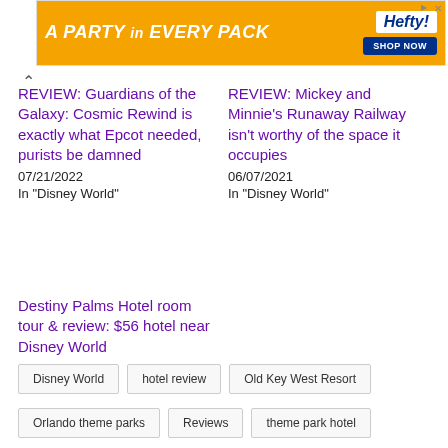[Figure (infographic): Hefty brand orange advertisement banner reading 'A PARTY in EVERY PACK' with Hefty logo and SHOP NOW button]
REVIEW: Guardians of the Galaxy: Cosmic Rewind is exactly what Epcot needed, purists be damned
07/21/2022
In "Disney World"
REVIEW: Mickey and Minnie's Runaway Railway isn't worthy of the space it occupies
06/07/2021
In "Disney World"
Destiny Palms Hotel room tour & review: $56 hotel near Disney World
07/15/2022
In "Disney World"
Disney World
hotel review
Old Key West Resort
Orlando theme parks
Reviews
theme park hotel